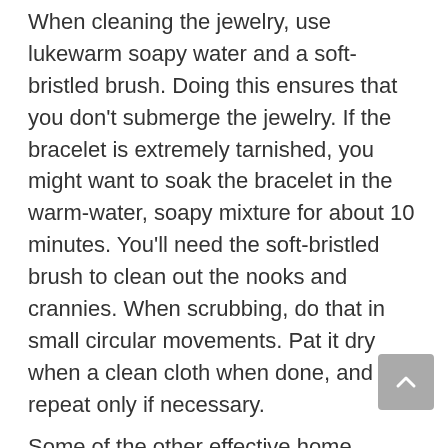When cleaning the jewelry, use lukewarm soapy water and a soft-bristled brush. Doing this ensures that you don't submerge the jewelry. If the bracelet is extremely tarnished, you might want to soak the bracelet in the warm-water, soapy mixture for about 10 minutes. You'll need the soft-bristled brush to clean out the nooks and crannies. When scrubbing, do that in small circular movements. Pat it dry when a clean cloth when done, and repeat only if necessary.
Some of the other effective home cleaning methods include:
Baking soda and some white distilled vinegar
Crèam of tartar and water
Toothpaste